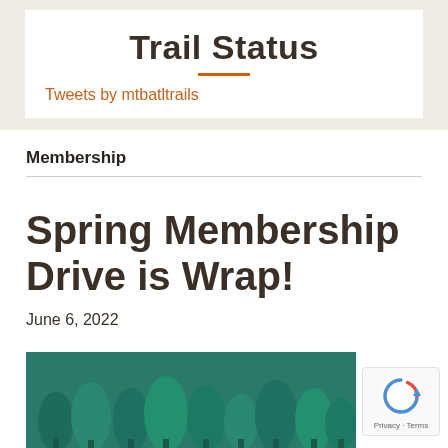Trail Status
Tweets by mtbatltrails
Membership
Spring Membership Drive is Wrap!
June 6, 2022
[Figure (photo): Photo of green pine trees with teal/green toned background]